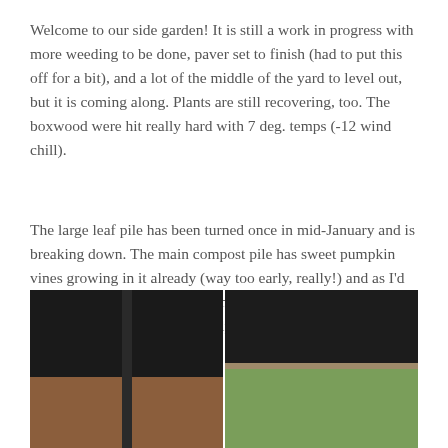Welcome to our side garden! It is still a work in progress with more weeding to be done, paver set to finish (had to put this off for a bit), and a lot of the middle of the yard to level out, but it is coming along. Plants are still recovering, too. The boxwood were hit really hard with 7 deg. temps (-12 wind chill).
The large leaf pile has been turned once in mid-January and is breaking down. The main compost pile has sweet pumpkin vines growing in it already (way too early, really!) and as I'd find earthworms, I bury them into the composting leaves, straw and kitchen scraps, to help everything break down.
[Figure (photo): Two side-by-side outdoor photos showing a covered patio/pergola area: left photo shows dark awning overhead with brick wall and a vertical post; right photo shows dark awning with a wooden beam and green trees/foliage in the background.]